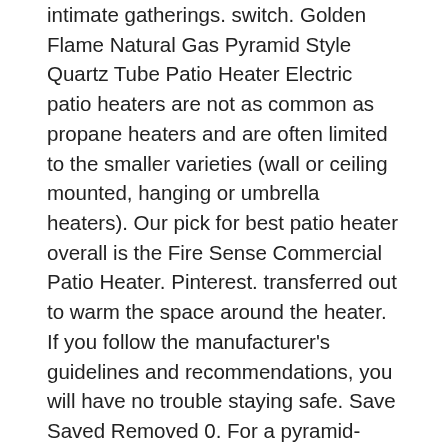intimate gatherings. switch. Golden Flame Natural Gas Pyramid Style Quartz Tube Patio Heater Electric patio heaters are not as common as propane heaters and are often limited to the smaller varieties (wall or ceiling mounted, hanging or umbrella heaters). Our pick for best patio heater overall is the Fire Sense Commercial Patio Heater. Pinterest. transferred out to warm the space around the heater. If you follow the manufacturer's guidelines and recommendations, you will have no trouble staying safe. Save Saved Removed 0. For a pyramid-style heat source that will grab some attention (in a good way), the Hampton Pyramid Patio Propane Heater is one of the best patio heaters you can get. At least one valid email address is required. Normally, the flames are contained inside of tempered glass tubing and this helps to make the patio heater more safe. I started this website to expand and share my knowledge, findings, techniques and distribute anything that I find worth sharing. This unit heats up to